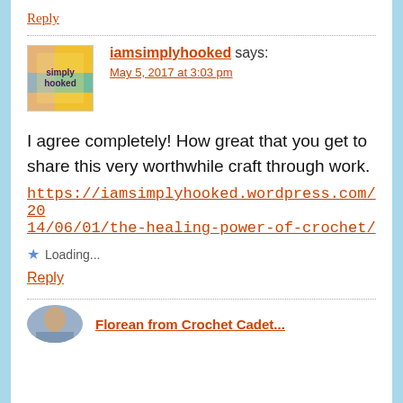Reply
iamsimplyhooked says:
May 5, 2017 at 3:03 pm
I agree completely! How great that you get to share this very worthwhile craft through work.
https://iamsimplyhooked.wordpress.com/2014/06/01/the-healing-power-of-crochet/
Loading...
Reply